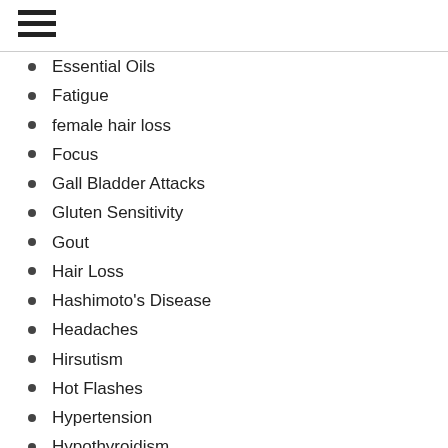Essential Oils
Fatigue
female hair loss
Focus
Gall Bladder Attacks
Gluten Sensitivity
Gout
Hair Loss
Hashimoto's Disease
Headaches
Hirsutism
Hot Flashes
Hypertension
Hypothyroidism